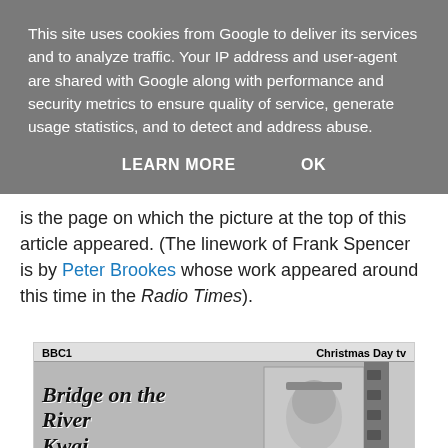This site uses cookies from Google to deliver its services and to analyze traffic. Your IP address and user-agent are shared with Google along with performance and security metrics to ensure quality of service, generate usage statistics, and to detect and address abuse.
LEARN MORE    OK
is the page on which the picture at the top of this article appeared. (The linework of Frank Spencer is by Peter Brookes whose work appeared around this time in the Radio Times).
[Figure (photo): A scanned newspaper clipping showing a BBC1 Christmas Day TV listing page featuring 'Bridge on the River Kwai' as the main feature, with illustrative artwork and programme listings below including 'Some Mothers Do Ave Em', 'The Mike Yarwood Christmas Show', and 'Bridge on the River Kwai'.]